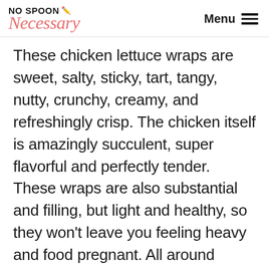NO SPOON NECESSARY / Necessary — Menu
These chicken lettuce wraps are sweet, salty, sticky, tart, tangy, nutty, crunchy, creamy, and refreshingly crisp. The chicken itself is amazingly succulent, super flavorful and perfectly tender. These wraps are also substantial and filling, but light and healthy, so they won't leave you feeling heavy and food pregnant. All around these
wraps are nom-tastic and they WILL have you addicted